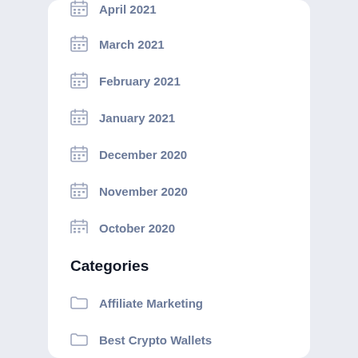March 2021
February 2021
January 2021
December 2020
November 2020
October 2020
September 2020
Categories
Affiliate Marketing
Best Crypto Wallets